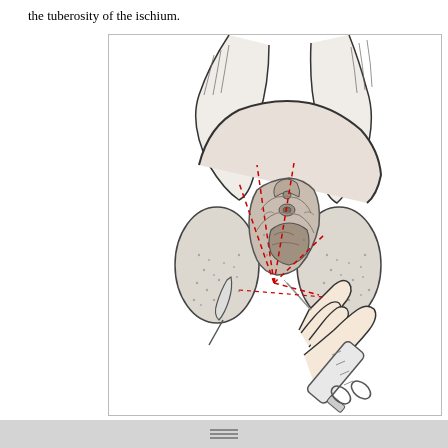the tuberosity of the ischium.
[Figure (illustration): Medical illustration showing a surgical procedure with a syringe/needle being inserted into the perineal region. Dashed red lines indicate injection pathways radiating from a central point toward the pudendal nerve area. The illustration is a detailed anatomical line drawing in black ink with red dashed guide lines.]
navigation bar